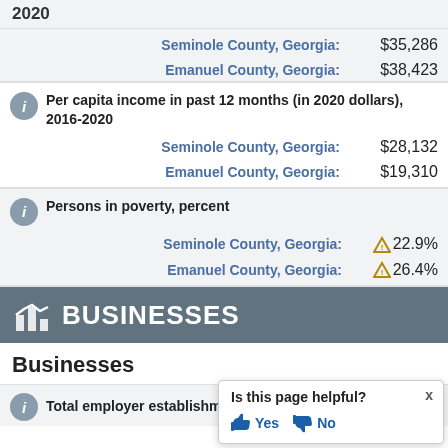2020
Seminole County, Georgia: $35,286
Emanuel County, Georgia: $38,423
Per capita income in past 12 months (in 2020 dollars), 2016-2020
Seminole County, Georgia: $28,132
Emanuel County, Georgia: $19,310
Persons in poverty, percent
Seminole County, Georgia: 22.9%
Emanuel County, Georgia: 26.4%
BUSINESSES
Businesses
Total employer establishment
Is this page helpful? Yes No